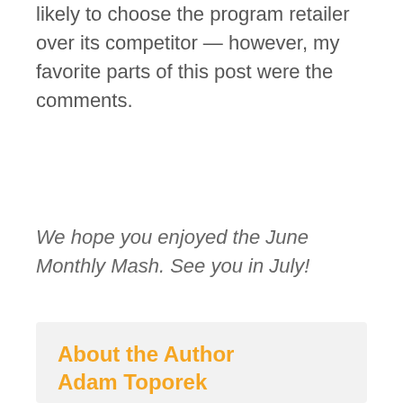likely to choose the program retailer over its competitor — however, my favorite parts of this post were the comments.
We hope you enjoyed the June Monthly Mash. See you in July!
About the Author Adam Toporek
By Adam Toporek. Adam Toporek is an internationally recognized customer service expert, keynote speaker, and workshop leader. He is the